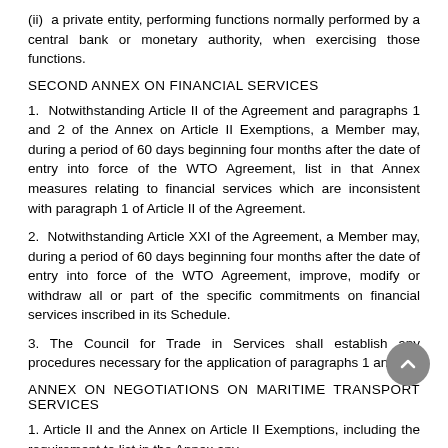(ii)  a private entity, performing functions normally performed by a central bank or monetary authority, when exercising those functions.
SECOND ANNEX ON FINANCIAL SERVICES
1.  Notwithstanding Article II of the Agreement and paragraphs 1 and 2 of the Annex on Article II Exemptions, a Member may, during a period of 60 days beginning four months after the date of entry into force of the WTO Agreement, list in that Annex measures relating to financial services which are inconsistent with paragraph 1 of Article II of the Agreement.
2.  Notwithstanding Article XXI of the Agreement, a Member may, during a period of 60 days beginning four months after the date of entry into force of the WTO Agreement, improve, modify or withdraw all or part of the specific commitments on financial services inscribed in its Schedule.
3. The Council for Trade in Services shall establish any procedures necessary for the application of paragraphs 1 and 2.
ANNEX ON NEGOTIATIONS ON MARITIME TRANSPORT SERVICES
1. Article II and the Annex on Article II Exemptions, including the requirement to list in the Annex any